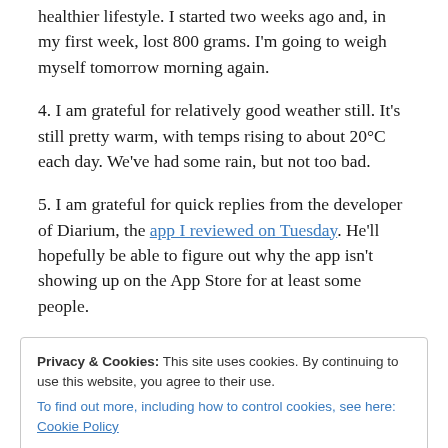healthier lifestyle. I started two weeks ago and, in my first week, lost 800 grams. I'm going to weigh myself tomorrow morning again.
4. I am grateful for relatively good weather still. It's still pretty warm, with temps rising to about 20°C each day. We've had some rain, but not too bad.
5. I am grateful for quick replies from the developer of Diarium, the app I reviewed on Tuesday. He'll hopefully be able to figure out why the app isn't showing up on the App Store for at least some people.
Privacy & Cookies: This site uses cookies. By continuing to use this website, you agree to their use. To find out more, including how to control cookies, see here: Cookie Policy
am on a four-day streak in Diarium (not that the app keeps